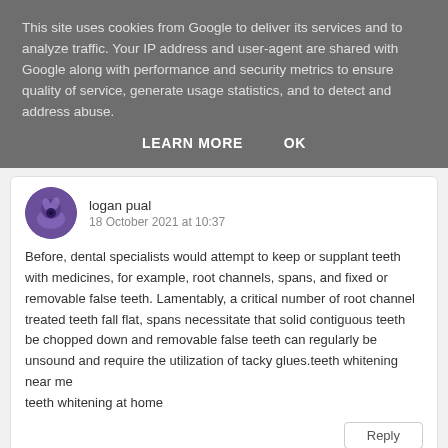This site uses cookies from Google to deliver its services and to analyze traffic. Your IP address and user-agent are shared with Google along with performance and security metrics to ensure quality of service, generate usage statistics, and to detect and address abuse.
LEARN MORE   OK
logan pual
18 October 2021 at 10:37
Before, dental specialists would attempt to keep or supplant teeth with medicines, for example, root channels, spans, and fixed or removable false teeth. Lamentably, a critical number of root channel treated teeth fall flat, spans necessitate that solid contiguous teeth be chopped down and removable false teeth can regularly be unsound and require the utilization of tacky glues.teeth whitening near me teeth whitening at home
Reply
unknown